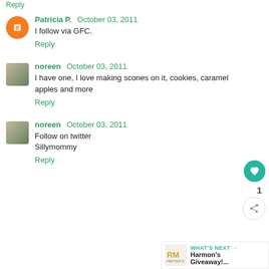Reply
Patricia P.  October 03, 2011
I follow via GFC.
Reply
noreen  October 03, 2011
I have one, I love making scones on it, cookies, caramel apples and more
Reply
noreen  October 03, 2011
Follow on twitter
Sillymommy
Reply
WHAT'S NEXT → Harmon's Giveaway!...